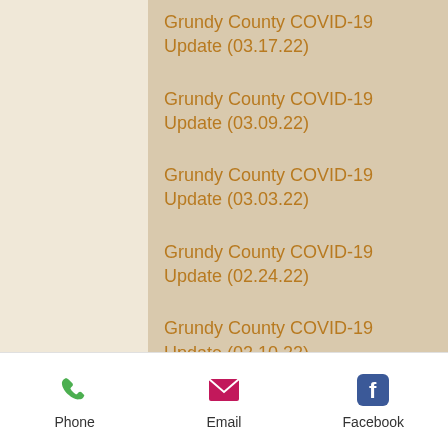Grundy County COVID-19 Update (03.17.22)
Grundy County COVID-19 Update (03.09.22)
Grundy County COVID-19 Update (03.03.22)
Grundy County COVID-19 Update (02.24.22)
Grundy County COVID-19 Update (02.10.22)
Grundy County COVID-19 Update (02.03.22)
Phone  Email  Facebook